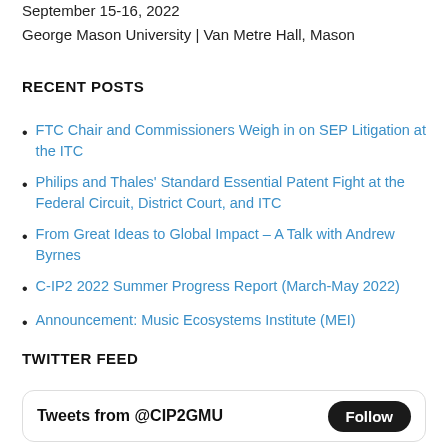September 15-16, 2022
George Mason University | Van Metre Hall, Mason
RECENT POSTS
FTC Chair and Commissioners Weigh in on SEP Litigation at the ITC
Philips and Thales' Standard Essential Patent Fight at the Federal Circuit, District Court, and ITC
From Great Ideas to Global Impact – A Talk with Andrew Byrnes
C-IP2 2022 Summer Progress Report (March-May 2022)
Announcement: Music Ecosystems Institute (MEI)
TWITTER FEED
Tweets from @CIP2GMU  Follow